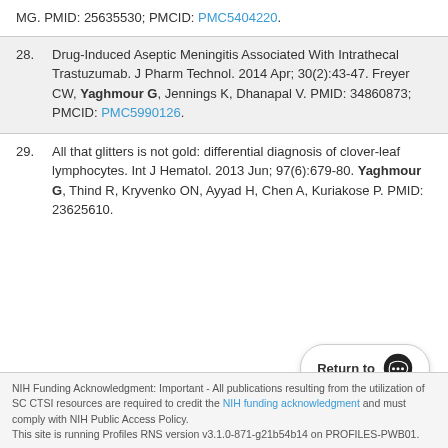MG. PMID: 25635530; PMCID: PMC5404220.
28. Drug-Induced Aseptic Meningitis Associated With Intrathecal Trastuzumab. J Pharm Technol. 2014 Apr; 30(2):43-47. Freyer CW, Yaghmour G, Jennings K, Dhanapal V. PMID: 34860873; PMCID: PMC5990126.
29. All that glitters is not gold: differential diagnosis of clover-leaf lymphocytes. Int J Hematol. 2013 Jun; 97(6):679-80. Yaghmour G, Thind R, Kryvenko ON, Ayyad H, Chen A, Kuriakose P. PMID: 23625610.
NIH Funding Acknowledgment: Important - All publications resulting from the utilization of SC CTSI resources are required to credit the NIH funding acknowledgment and must comply with NIH Public Access Policy. This site is running Profiles RNS version v3.1.0-871-g21b54b14 on PROFILES-PWB01.